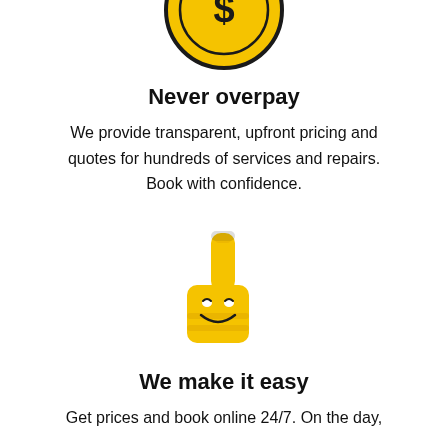[Figure (illustration): Yellow coin with dollar sign icon, partially cropped at top]
Never overpay
We provide transparent, upfront pricing and quotes for hundreds of services and repairs. Book with confidence.
[Figure (illustration): Yellow thumbs-up mascot with a smiley face on the thumb]
We make it easy
Get prices and book online 24/7. On the day,